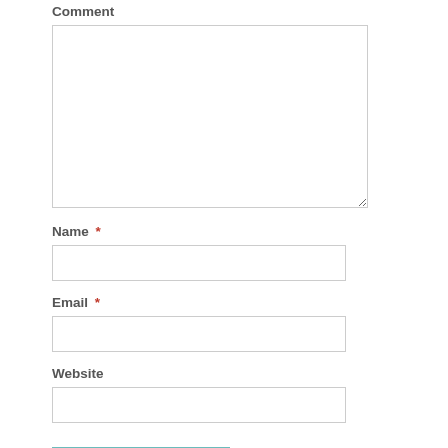Comment
[Figure (screenshot): Large empty comment textarea input box with resize handle]
Name *
Email *
Website
POST COMMENT